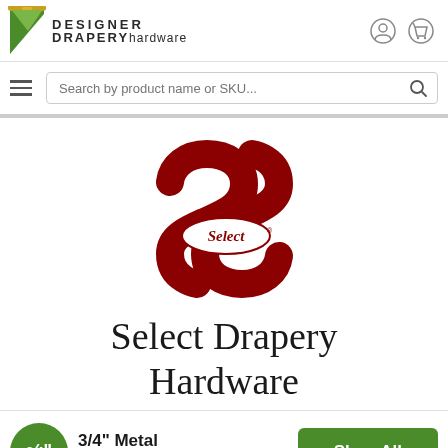[Figure (logo): Designer Drapery Hardware logo with green feather/flag icon and stylized text]
Search by product name or SKU...
[Figure (logo): Select brand logo — large red decorative S with 'Select' text in oval badge]
Select Drapery Hardware
3/4" Metal Collection
Shop All